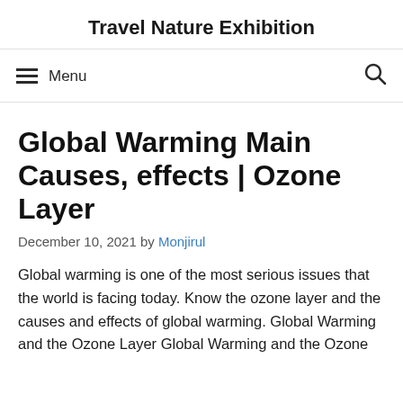Travel Nature Exhibition
☰ Menu
Global Warming Main Causes, effects | Ozone Layer
December 10, 2021 by Monjirul
Global warming is one of the most serious issues that the world is facing today. Know the ozone layer and the causes and effects of global warming. Global Warming and the Ozone Layer Global Warming and the Ozone